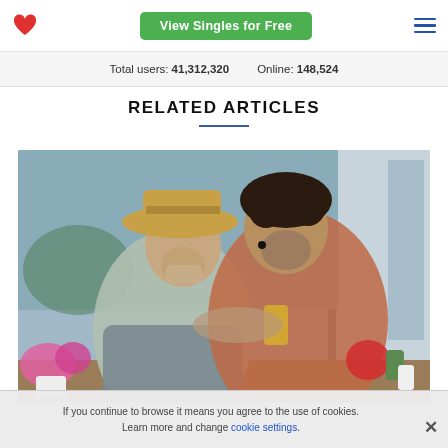View Singles for Free | Total users: 41,312,320 | Online: 148,524
Total users: 41,312,320   Online: 148,524
RELATED ARTICLES
[Figure (photo): Two men sitting at an outdoor café table, smiling and looking at a smartphone. The man on the left wears a straw hat and grey jacket; the man on the right wears a red plaid shirt and has curly dark hair. Pink and red flowers are on the table along with a coffee cup.]
If you continue to browse it means you agree to the use of cookies. Learn more and change cookie settings.